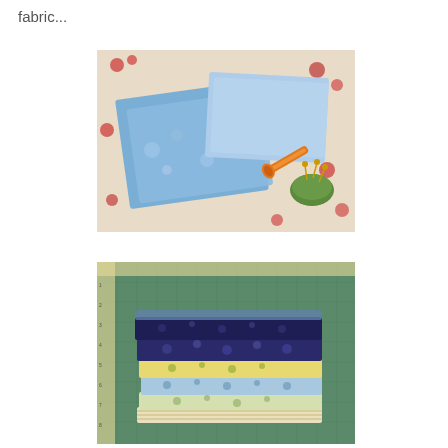fabric...
[Figure (photo): Blue floral fabric pieces laid on a floral tablecloth, with orange scissors and a green pincushion with pins]
[Figure (photo): A stack of folded fabric pieces in various patterns including dark navy, blue floral, yellow floral, and striped fabrics, placed on a green cutting mat]